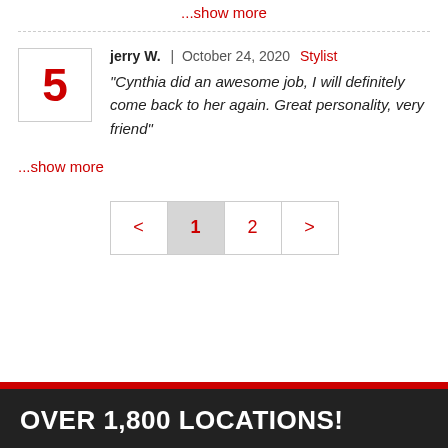...show more
jerry W.  |  October 24, 2020  Stylist
"Cynthia did an awesome job, I will definitely come back to her again. Great personality, very friend"
...show more
< 1 2 >
OVER 1,800 LOCATIONS!